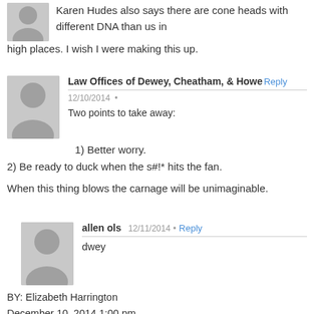Karen Hudes also says there are cone heads with different DNA than us in high places. I wish I were making this up.
Law Offices of Dewey, Cheatham, & Howe
12/10/2014
Two points to take away:
1) Better worry.
2) Be ready to duck when the s#!* hits the fan.
When this thing blows the carnage will be unimaginable.
allen ols
12/11/2014
dwey
BY: Elizabeth Harrington
December 10, 2014 1:00 pm
The Department of Treasury is seeking to order survival kits for all of its employees who oversee the